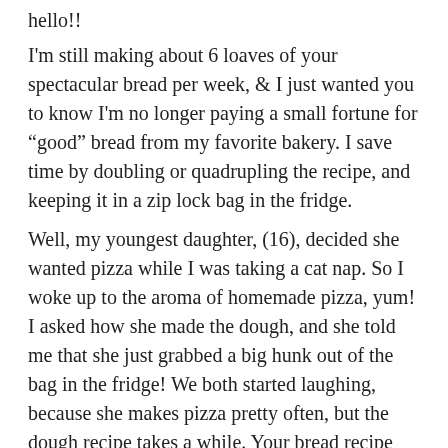hello!!
I'm still making about 6 loaves of your spectacular bread per week, & I just wanted you to know I'm no longer paying a small fortune for “good” bread from my favorite bakery. I save time by doubling or quadrupling the recipe, and keeping it in a zip lock bag in the fridge.
Well, my youngest daughter, (16), decided she wanted pizza while I was taking a cat nap. So I woke up to the aroma of homemade pizza, yum! I asked how she made the dough, and she told me that she just grabbed a big hunk out of the bag in the fridge! We both started laughing, because she makes pizza pretty often, but the dough recipe takes a while. Your bread recipe made The best pizza crust! This was a big pizza, but the bottom stayed crisp, and the crust was chewy but soft.